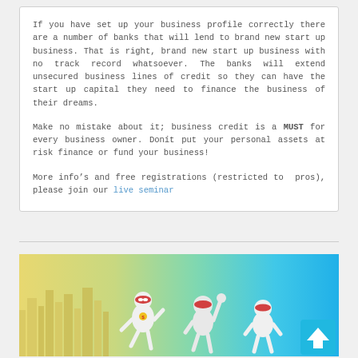If you have set up your business profile correctly there are a number of banks that will lend to brand new start up business. That is right, brand new start up business with no track record whatsoever. The banks will extend unsecured business lines of credit so they can have the start up capital they need to finance the business of their dreams.
Make no mistake about it; business credit is a MUST for every business owner. Donít put your personal assets at risk finance or fund your business!
More info's and free registrations (restricted to  pros), please join our live seminar
[Figure (illustration): Colorful banner with city skyline silhouette and three cartoon superhero figures (white 3D stick-figure characters with red masks and colorful accents). Background transitions from yellow-green on the left to cyan/blue on the right. A blue up-arrow button appears in the bottom right corner.]